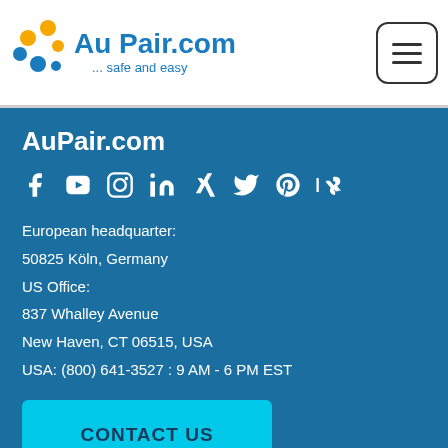AuPair.com ... safe and easy
AuPair.com
[Figure (illustration): Social media icons: Facebook, YouTube, Instagram, LinkedIn, Xing, Twitter, Pinterest, VK]
European headquarter:
50825 Köln, Germany
US Office:
837 Whalley Avenue
New Haven, CT 06515, USA
USA: (800) 641-3527 : 9 AM - 6 PM EST
CONTACT US